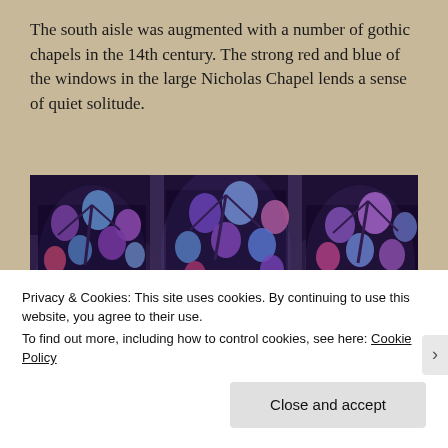The south aisle was augmented with a number of gothic chapels in the 14th century. The strong red and blue of the windows in the large Nicholas Chapel lends a sense of quiet solitude.
[Figure (photo): Interior photograph of a gothic chapel showing tall stained glass windows with intricate tracery. The windows feature strong red, blue, and purple hues with decorative stonework arches. The chapel interior is dark with dramatic lighting from the windows.]
Privacy & Cookies: This site uses cookies. By continuing to use this website, you agree to their use.
To find out more, including how to control cookies, see here: Cookie Policy
Close and accept